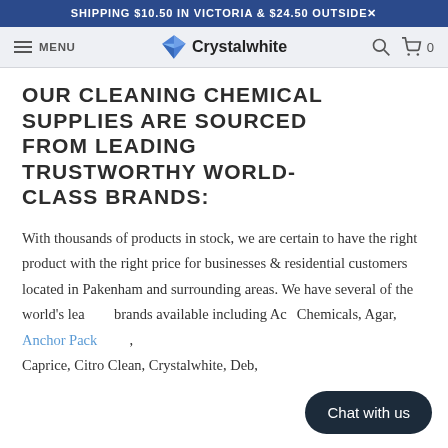SHIPPING $10.50 IN VICTORIA & $24.50 OUTSIDE×
MENU  Crystalwhite  🔍  🛒 0
OUR CLEANING CHEMICAL SUPPLIES ARE SOURCED FROM LEADING TRUSTWORTHY WORLD-CLASS BRANDS:
With thousands of products in stock, we are certain to have the right product with the right price for businesses & residential customers located in Pakenham and surrounding areas. We have several of the world's leading brands available including Ace Chemicals, Agar, Anchor Packaging, Caprice, Citro Clean, Crystalwhite, Deb,